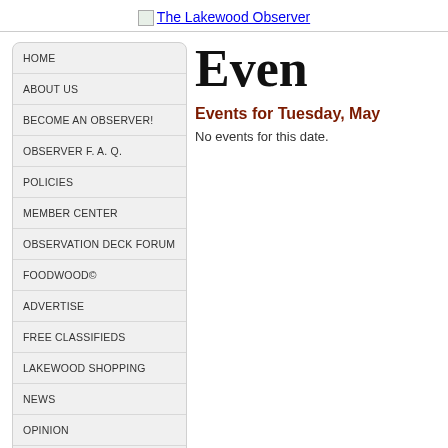The Lakewood Observer
Even
HOME
ABOUT US
BECOME AN OBSERVER!
OBSERVER F. A. Q.
POLICIES
MEMBER CENTER
OBSERVATION DECK FORUM
FOODWOOD©
ADVERTISE
FREE CLASSIFIEDS
LAKEWOOD SHOPPING
NEWS
OPINION
SPECIAL SECTION
Events for Tuesday, May
No events for this date.